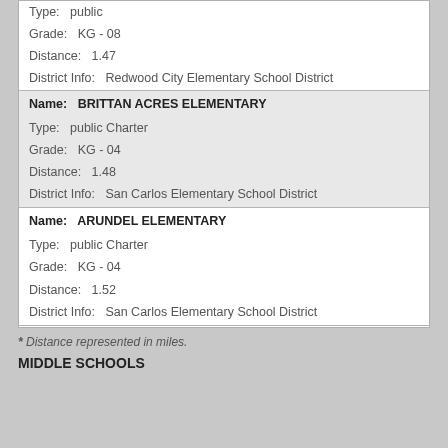| Type: | public |
| Grade: | KG - 08 |
| Distance: | 1.47 |
| District Info: | Redwood City Elementary School District |
| Name: | BRITTAN ACRES ELEMENTARY |
| Type: | public Charter |
| Grade: | KG - 04 |
| Distance: | 1.48 |
| District Info: | San Carlos Elementary School District |
| Name: | ARUNDEL ELEMENTARY |
| Type: | public Charter |
| Grade: | KG - 04 |
| Distance: | 1.52 |
| District Info: | San Carlos Elementary School District |
* Distance represented in miles.
MIDDLE SCHOOLS